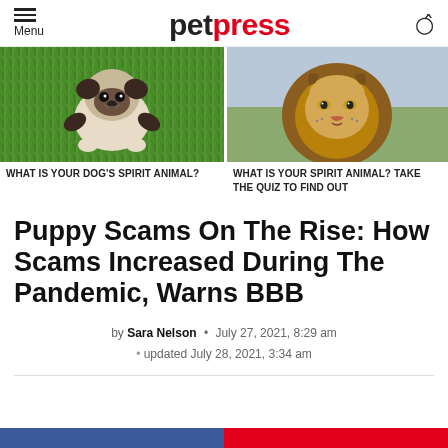petpress — Menu / Search
[Figure (photo): Pug dog lying on green grass on its back with paws up]
WHAT IS YOUR DOG'S SPIRIT ANIMAL?
[Figure (photo): Majestic lion portrait against blurred outdoor background]
WHAT IS YOUR SPIRIT ANIMAL? TAKE THE QUIZ TO FIND OUT
Puppy Scams On The Rise: How Scams Increased During The Pandemic, Warns BBB
by Sara Nelson • July 27, 2021, 8:29 am • updated July 28, 2021, 3:34 am